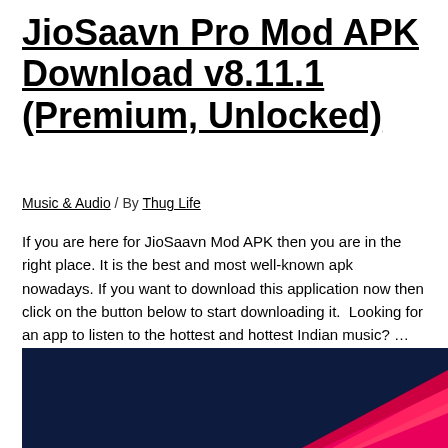JioSaavn Pro Mod APK Download v8.11.1 (Premium, Unlocked)
Music & Audio / By Thug Life
If you are here for JioSaavn Mod APK then you are in the right place. It is the best and most well-known apk nowadays. If you want to download this application now then click on the button below to start downloading it.  Looking for an app to listen to the hottest and hottest Indian music? …
Read More »
[Figure (screenshot): Dark navy background with a pink/red arrow-like logo shape in the bottom right corner, partially visible — JioSaavn app logo area]